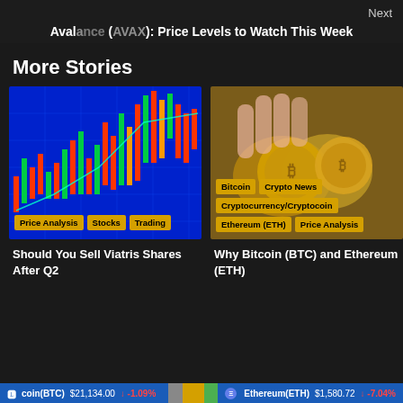Next
Avalanche (AVAX): Price Levels to Watch This Week
More Stories
[Figure (photo): Candlestick trading chart on blue background with price analysis, stocks, and trading tags]
Should You Sell Viatris Shares After Q2
[Figure (photo): Hands holding bitcoin coins with tags: Bitcoin, Crypto News, Cryptocurrency/Cryptocoin, Ethereum (ETH), Price Analysis]
Why Bitcoin (BTC) and Ethereum (ETH)
Bitcoin(BTC)  $21,134.00  ↓ -1.09%    Ethereum(ETH)  $1,580.72  ↓ -7.04%